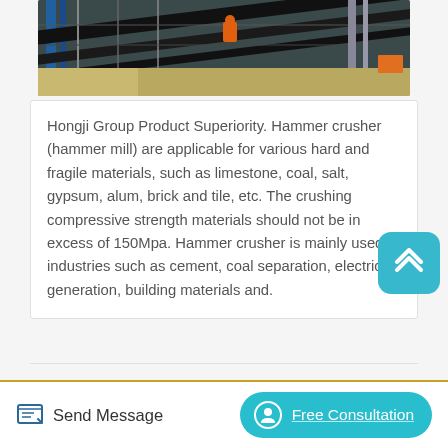[Figure (photo): Aerial/overhead view of industrial conveyor belt machinery at a mining or construction site, with blue steel framework, dark conveyor belt running diagonally, a worker in orange safety vest visible, and sandy/earthen ground below.]
Hongji Group Product Superiority. Hammer crusher (hammer mill) are applicable for various hard and fragile materials, such as limestone, coal, salt, gypsum, alum, brick and tile, etc. The crushing compressive strength materials should not be in excess of 150Mpa. Hammer crusher is mainly used in industries such as cement, coal separation, electricity generation, building materials and.
Send Message
Free Consultation